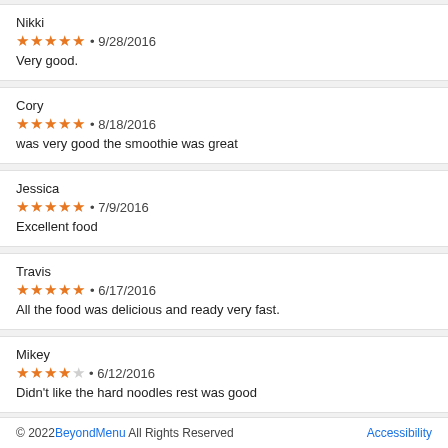Nikki
★★★★★ • 9/28/2016
Very good.
Cory
★★★★★ • 8/18/2016
was very good the smoothie was great
Jessica
★★★★★ • 7/9/2016
Excellent food
Travis
★★★★★ • 6/17/2016
All the food was delicious and ready very fast.
Mikey
★★★★☆ • 6/12/2016
Didn't like the hard noodles rest was good
© 2022 BeyondMenu All Rights Reserved  Accessibility